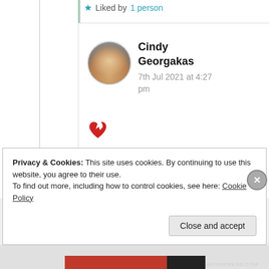★ Liked by 1 person
Cindy Georgakas
7th Jul 2021 at 4:27 pm
[Figure (illustration): Red broken heart emoji]
★ Like
Privacy & Cookies: This site uses cookies. By continuing to use this website, you agree to their use.
To find out more, including how to control cookies, see here: Cookie Policy
Close and accept